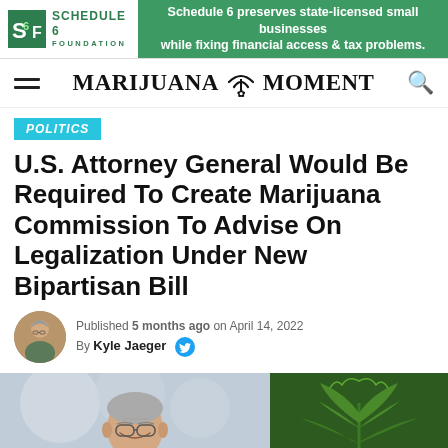[Figure (logo): Schedule 6 Foundation logo with green S6F icon and text, alongside green banner ad: 'Schedule 6 preserves state-licensed small businesses while fixing financial access & tax problems.']
MARIJUANA MOMENT
POLITICS
U.S. Attorney General Would Be Required To Create Marijuana Commission To Advise On Legalization Under New Bipartisan Bill
Published 5 months ago on April 14, 2022
By Kyle Jaeger
[Figure (photo): Split photo: left side shows a grey-haired man with glasses (U.S. Attorney General Merrick Garland), right side shows green cannabis/marijuana leaves.]